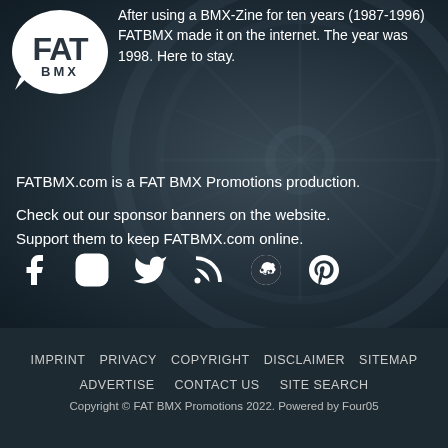[Figure (logo): FAT BMX logo — white speech bubble with 'FAT' in bold and 'BMX' below]
After using a BMX-Zine for ten years (1987-1996) FATBMX made it on the internet. The year was 1998. Here to stay.
FATBMX.com is a FAT BMX Promotions production.
Check out our sponsor banners on the website. Support them to keep FATBMX.com online.
[Figure (infographic): Social media icons row: Facebook, Instagram, Twitter, RSS, Reddit, Pinterest]
IMPRINT   PRIVACY   COPYRIGHT   DISCLAIMER   SITEMAP   ADVERTISE   CONTACT US   SITE SEARCH   Copyright © FAT BMX Promotions 2022. Powered by Four05